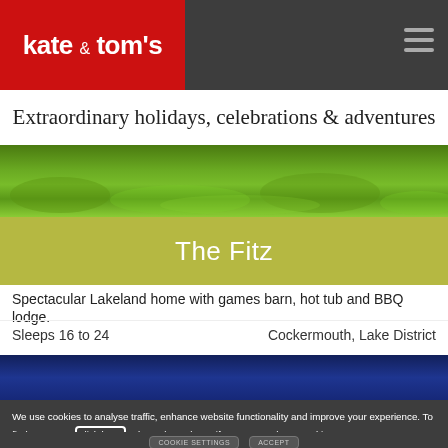kate & tom's
Extraordinary holidays, celebrations & adventures
[Figure (photo): Grass lawn background photo]
The Fitz
Spectacular Lakeland home with games barn, hot tub and BBQ lodge.
Sleeps 16 to 24    Cockermouth, Lake District
[Figure (photo): Dark blue gradient area, partial property photo]
We use cookies to analyse traffic, enhance website functionality and improve your experience. To find out more, click here. Please let us know if you accept these cookies.
COOKIE SETTINGS
ACCEPT